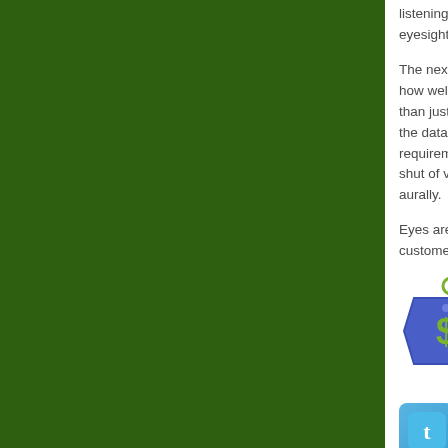listening play as im... eyesight? And you...
The next time you ... how well you use y... than just words, an... the data your ears ... requirements. And ... shut of visual stimu... aurally.
Eyes aren't overrat... customers than by...
[Figure (illustration): Price tag icon with dollar sign, purple/blue colored]
If you ... of Se... consu... every prospect and...
[Figure (logo): Twitter, LinkedIn, and another social media icon buttons]